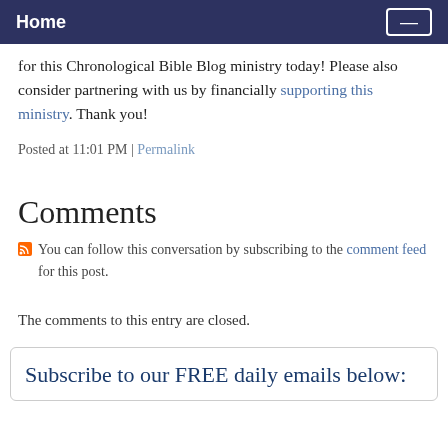Home
for this Chronological Bible Blog ministry today! Please also consider partnering with us by financially supporting this ministry. Thank you!
Posted at 11:01 PM | Permalink
Comments
You can follow this conversation by subscribing to the comment feed for this post.
The comments to this entry are closed.
Subscribe to our FREE daily emails below: